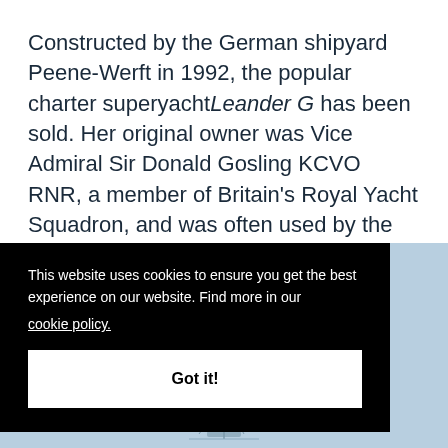Constructed by the German shipyard Peene-Werft in 1992, the popular charter superyacht Leander G has been sold. Her original owner was Vice Admiral Sir Donald Gosling KCVO RNR, a member of Britain's Royal Yacht Squadron, and was often used by the British Royal Family, notably Queen
This website uses cookies to ensure you get the best experience on our website. Find more in our cookie policy.
Got it!
[Figure (photo): Bottom strip showing a light blue sky/water background with a faint yacht silhouette]